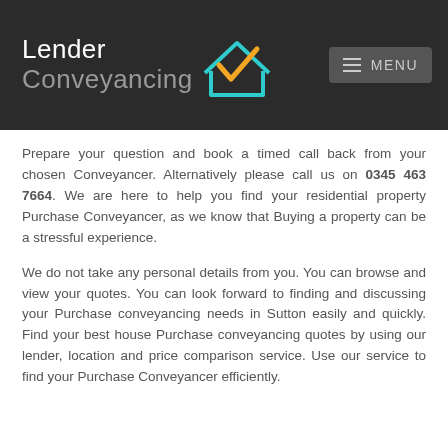Lender Conveyancing — MENU
Prepare your question and book a timed call back from your chosen Conveyancer. Alternatively please call us on 0345 463 7664. We are here to help you find your residential property Purchase Conveyancer, as we know that Buying a property can be a stressful experience.
We do not take any personal details from you. You can browse and view your quotes. You can look forward to finding and discussing your Purchase conveyancing needs in Sutton easily and quickly. Find your best house Purchase conveyancing quotes by using our lender, location and price comparison service. Use our service to find your Purchase Conveyancer efficiently.